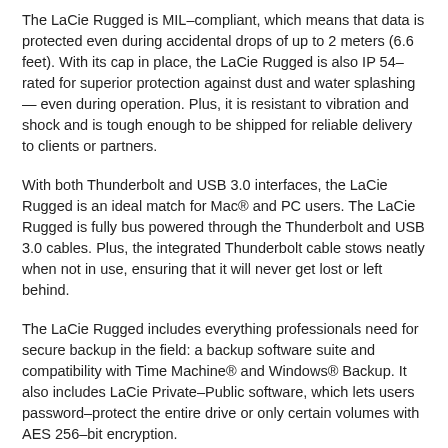The LaCie Rugged is MIL–compliant, which means that data is protected even during accidental drops of up to 2 meters (6.6 feet). With its cap in place, the LaCie Rugged is also IP 54–rated for superior protection against dust and water splashing — even during operation. Plus, it is resistant to vibration and shock and is tough enough to be shipped for reliable delivery to clients or partners.
With both Thunderbolt and USB 3.0 interfaces, the LaCie Rugged is an ideal match for Mac® and PC users. The LaCie Rugged is fully bus powered through the Thunderbolt and USB 3.0 cables. Plus, the integrated Thunderbolt cable stows neatly when not in use, ensuring that it will never get lost or left behind.
The LaCie Rugged includes everything professionals need for secure backup in the field: a backup software suite and compatibility with Time Machine® and Windows® Backup. It also includes LaCie Private–Public software, which lets users password–protect the entire drive or only certain volumes with AES 256–bit encryption.
See the LaCie Rugged Thunderbolt hit the trail:
https://youtu.be/a19ul-BYurl...